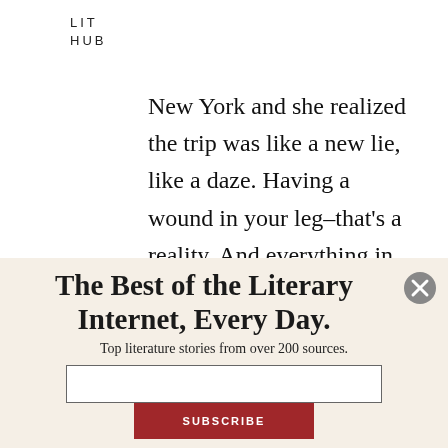LIT
HUB
New York and she realized the trip was like a new lie, like a daze. Having a wound in your leg–that's a reality. And everything in her life, since she was born, everything in her life had been soft like the leap of a cat.
The Best of the Literary Internet, Every Day.
Top literature stories from over 200 sources.
SUBSCRIBE